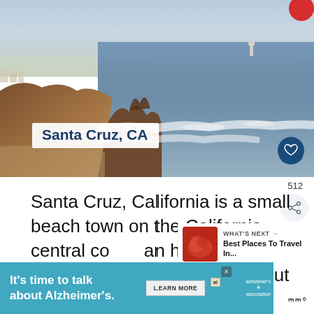[Figure (photo): Coastal view of Santa Cruz, CA showing rocky cliffs, churning ocean waves, and distant lighthouse at dusk/golden hour]
Santa Cruz, CA
Santa Cruz, California is a small beach town on the California central co... an hour and a half south of San Francisco. But Santa Cruz isn't just...
[Figure (infographic): WHAT'S NEXT -> Best Places To Travel In... thumbnail]
[Figure (infographic): Advertisement banner: It's time to talk about Alzheimer's. LEARN MORE. Alzheimer's Association.]